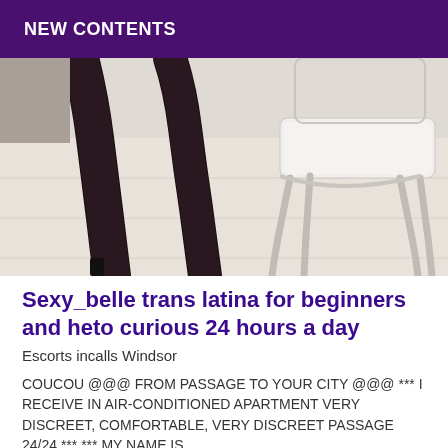NEW CONTENTS
[Figure (photo): A person's legs wearing black patterned stockings and high heels, seated next to an ornate white/silver French-style chair on a light wood floor.]
Sexy_belle trans latina for beginners and heto curious 24 hours a day
Escorts incalls Windsor
COUCOU @@@ FROM PASSAGE TO YOUR CITY @@@ *** I RECEIVE IN AIR-CONDITIONED APARTMENT VERY DISCREET, COMFORTABLE, VERY DISCREET PASSAGE 24/24 *** *** MY NAME IS